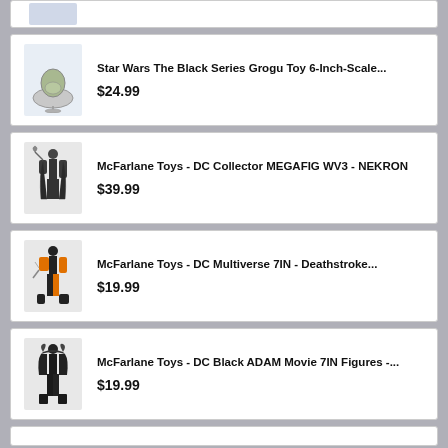[Figure (photo): Partial product card at top, product image partially visible]
Star Wars The Black Series Grogu Toy 6-Inch-Scale...
$24.99
McFarlane Toys - DC Collector MEGAFIG WV3 - NEKRON
$39.99
McFarlane Toys - DC Multiverse 7IN - Deathstroke...
$19.99
McFarlane Toys - DC Black ADAM Movie 7IN Figures -...
$19.99
[Figure (photo): Partial product card at bottom, cut off]